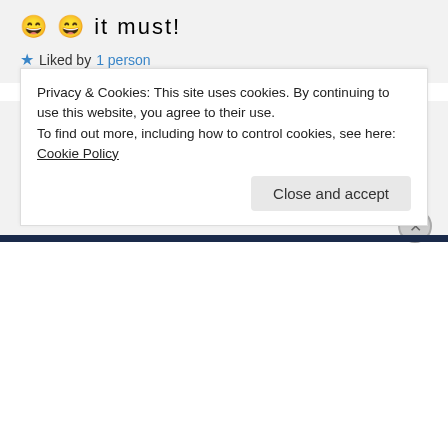😄 😄 it must!
★ Liked by 1 person
Melinda Kucsera on December 18, 2015 at 7:04 pm
😄
★ Like
Privacy & Cookies: This site uses cookies. By continuing to use this website, you agree to their use. To find out more, including how to control cookies, see here: Cookie Policy